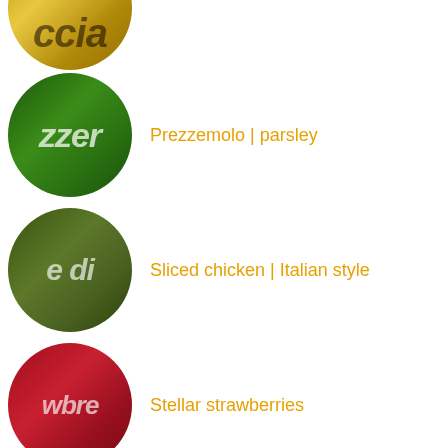[Figure (screenshot): Mobile app list view showing food/recipe items with circular thumbnail images and orange text labels. Items visible: (partial top item - focaccia/ccia), Prezzemolo | parsley, Sliced chicken | Italian style, Stellar strawberries, Bell pepper, Stompin'at the Savoy, Some Like it Hot | peperoncino, Catch as Catch Can (partial)]
Prezzemolo | parsley
Sliced chicken | Italian style
Stellar strawberries
Bell pepper
Stompin'at the Savoy
Some Like it Hot | peperoncino
Catch as Catch Can